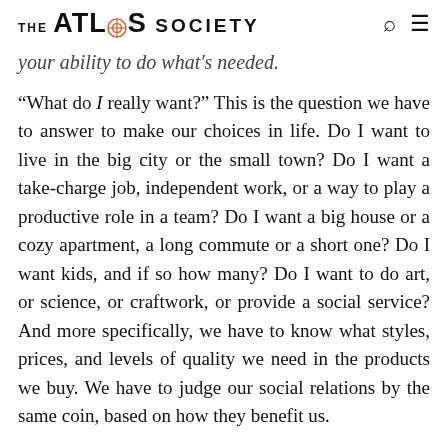THE ATLAS SOCIETY
your ability to do what's needed.
“What do I really want?” This is the question we have to answer to make our choices in life. Do I want to live in the big city or the small town? Do I want a take-charge job, independent work, or a way to play a productive role in a team? Do I want a big house or a cozy apartment, a long commute or a short one? Do I want kids, and if so how many? Do I want to do art, or science, or craftwork, or provide a social service? And more specifically, we have to know what styles, prices, and levels of quality we need in the products we buy. We have to judge our social relations by the same coin, based on how they benefit us.
Underlying these judgments is the answer to a deeper question: “What can I do?” You can’t judge what to do